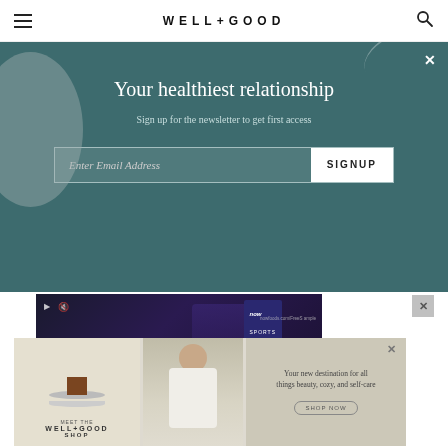WELL+GOOD
Your healthiest relationship
Sign up for the newsletter to get first access
[Figure (screenshot): Email signup form with 'Enter Email Address' input field and 'SIGNUP' button on teal background]
[Figure (screenshot): NOW Sports advertisement: 'BACKED BY SCIENCE TRUSTED BY ATHLETES' with a football player, Buy Now button, Informed Sport badge]
[Figure (screenshot): Well+Good Shop advertisement showing a plate with cake, a woman touching her hair, and text 'Your new destination for all things beauty, cozy, and self-care' with SHOP NOW button]